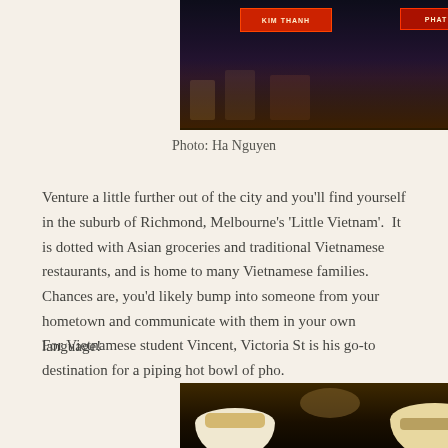[Figure (photo): Night street scene in Richmond, Melbourne's Little Vietnam, showing illuminated shop signs and street lights]
Photo: Ha Nguyen
Venture a little further out of the city and you'll find yourself in the suburb of Richmond, Melbourne's 'Little Vietnam'.  It is dotted with Asian groceries and traditional Vietnamese restaurants, and is home to many Vietnamese families. Chances are, you'd likely bump into someone from your hometown and communicate with them in your own language!
For Vietnamese student Vincent, Victoria St is his go-to destination for a piping hot bowl of pho.
[Figure (photo): Close-up photo of bowls of pho soup with noodles and garnishes on a dark table]